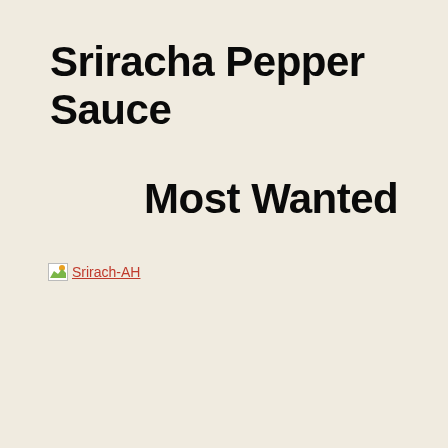Sriracha Pepper Sauce
Most Wanted
[Figure (other): Broken image placeholder with link text 'Srirach-AH']